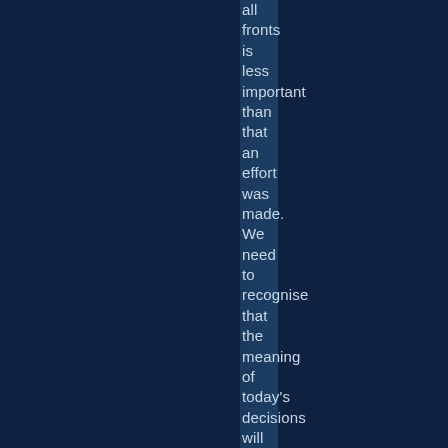all fronts is less important than that an effort was made. We need to recognise that the meaning of today's decisions will